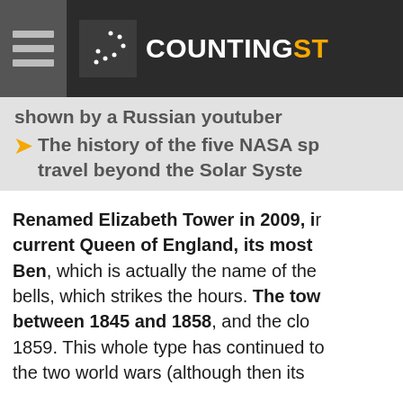COUNTINGST
shown by a Russian youtuber
The history of the five NASA sp travel beyond the Solar Syste
Renamed Elizabeth Tower in 2009, in current Queen of England, its most Ben, which is actually the name of the bells, which strikes the hours. The tow between 1845 and 1858, and the clo 1859. This whole type has continued to the two world wars (although then its